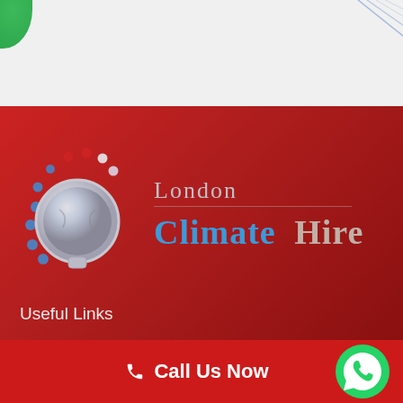[Figure (logo): London Climate Hire company logo with thermometer/gauge icon surrounded by colored dots on a red background]
Useful Links
Call Us Now